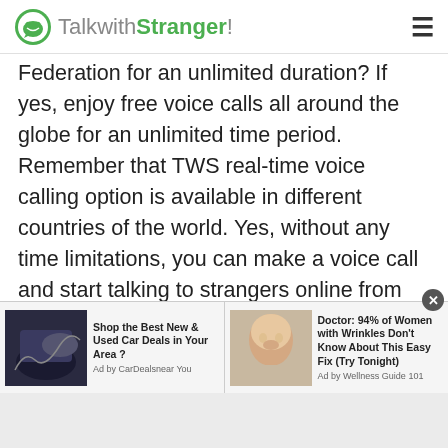TalkwithStranger!
Federation for an unlimited duration? If yes, enjoy free voice calls all around the globe for an unlimited time period. Remember that TWS real-time voice calling option is available in different countries of the world. Yes, without any time limitations, you can make a voice call and start talking to strangers online from different cultures, backgrounds and nationalities. In addition, if you are worried about your privacy then it's not a big deal. With an anonymous chat feature, you can talk to strangers in Russian Federation with complete privacy and
[Figure (screenshot): Advertisement bar with two ads: 'Shop the Best New & Used Car Deals in Your Area?' by CarDealsnear You, and 'Doctor: 94% of Women with Wrinkles Don't Know About This Easy Fix (Try Tonight)' by Wellness Guide 101]